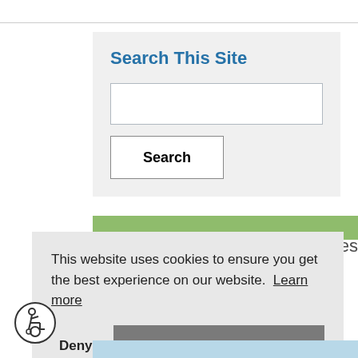Search This Site
[Figure (screenshot): Search input box — empty white text field]
[Figure (screenshot): Search button — white button with bold 'Search' label]
This website uses cookies to ensure you get the best experience on our website.  Learn more
Deny
Allow